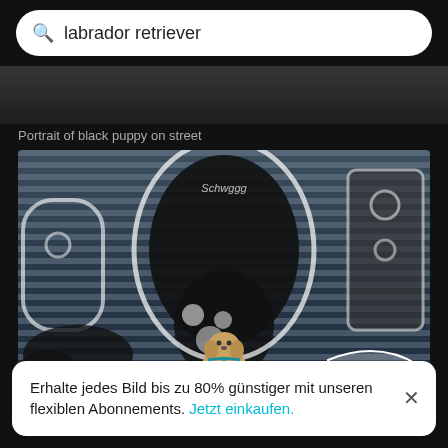labrador retriever
Portrait of black puppy on street
[Figure (photo): A yellow Labrador Retriever puppy sitting on a sidewalk in front of a large graffiti mural painted on a metal shutter door. The mural features black and white abstract shapes. The puppy wears a blue harness.]
Erhalte jedes Bild bis zu 80% günstiger mit unseren flexiblen Abonnements. Jetzt einkaufen.